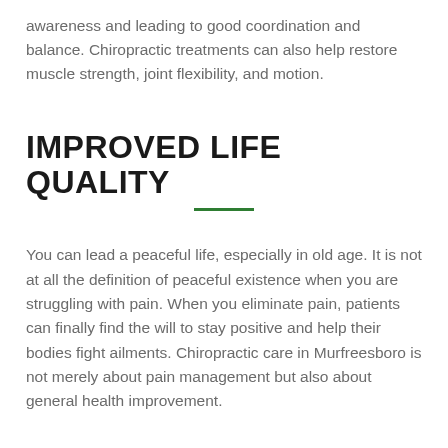awareness and leading to good coordination and balance. Chiropractic treatments can also help restore muscle strength, joint flexibility, and motion.
IMPROVED LIFE QUALITY
You can lead a peaceful life, especially in old age. It is not at all the definition of peaceful existence when you are struggling with pain. When you eliminate pain, patients can finally find the will to stay positive and help their bodies fight ailments. Chiropractic care in Murfreesboro is not merely about pain management but also about general health improvement.